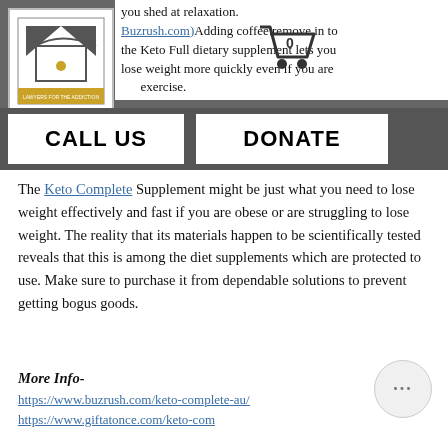[Figure (screenshot): Top banner with logo box on left, partial text about Keto Full dietary supplement, shopping cart icon, and a dark gray bar with CALL US and DONATE buttons]
The Keto Complete Supplement might be just what you need to lose weight effectively and fast if you are obese or are struggling to lose weight. The reality that its materials happen to be scientifically tested reveals that this is among the diet supplements which are protected to use. Make sure to purchase it from dependable solutions to prevent getting bogus goods.
More Info-
https://www.buzrush.com/keto-complete-au/
https://www.giftatonce.com/keto-com...au/
http://netchorus.com/keto-complete-au-